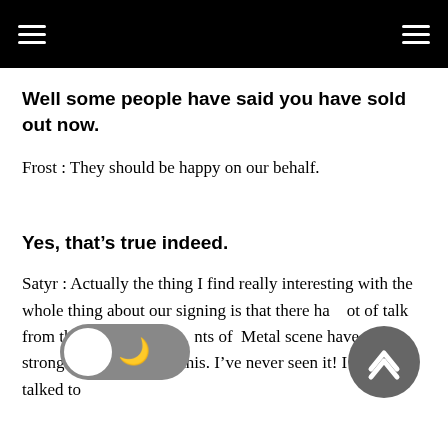Well some people have said you have sold out now.
Frost : They should be happy on our behalf.
Yes, that’s true indeed.
Satyr : Actually the thing I find really interesting with the whole thing about our signing is that there ha…ot of talk from the press, that ele…nts of…Metal scene have very strong fee…ings about this. I’ve never seen it! I’ve never talked to